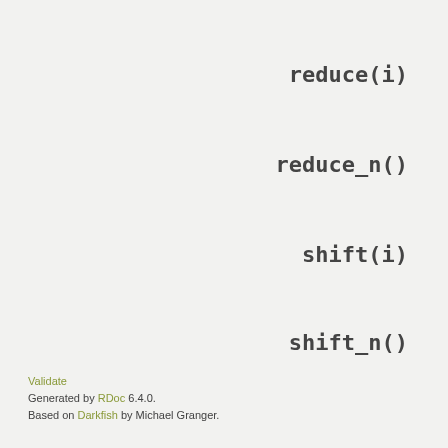reduce(i)
reduce_n()
shift(i)
shift_n()
Validate
Generated by RDoc 6.4.0.
Based on Darkfish by Michael Granger.